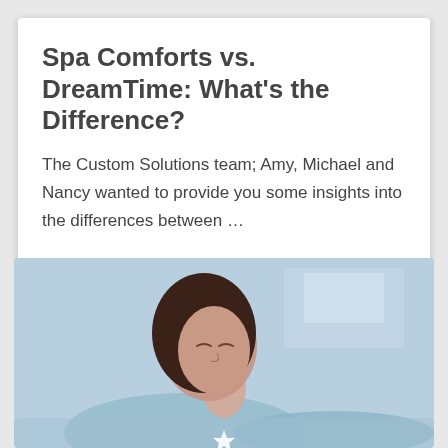Spa Comforts vs. DreamTime: What's the Difference?
The Custom Solutions team; Amy, Michael and Nancy wanted to provide you some insights into the differences between …
[Figure (photo): A woman with eyes closed, appearing relaxed, lying down in a spa or wellness setting. The image has a light blue/grey tint. A small white star icon is visible at the bottom center.]